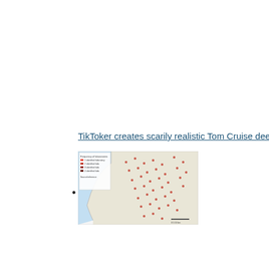TikToker creates scarily realistic Tom Cruise deepfakes
[Figure (map): A small map image showing a geographic region with scattered location markers, a legend on the left side, and blue water/sea area. Appears to be a map of Gaza or similar coastal region with many marked points.]